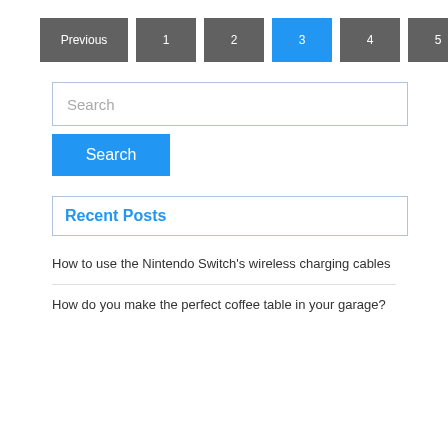Previous 1 2 3 4 5 Next
Search
Search
Recent Posts
How to use the Nintendo Switch's wireless charging cables
How do you make the perfect coffee table in your garage?